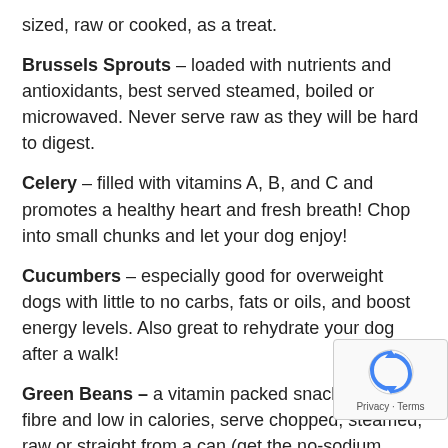sized, raw or cooked, as a treat.
Brussels Sprouts – loaded with nutrients and antioxidants, best served steamed, boiled or microwaved. Never serve raw as they will be hard to digest.
Celery – filled with vitamins A, B, and C and promotes a healthy heart and fresh breath! Chop into small chunks and let your dog enjoy!
Cucumbers – especially good for overweight dogs with little to no carbs, fats or oils, and boost energy levels. Also great to rehydrate your dog after a walk!
Green Beans – a vitamin packed snack, full of fibre and low in calories, serve chopped, steamed, raw or straight from a can (get the no-sodium type).
Peas – a tasty alternative to fatty treats, full of vitamins, minerals, protein and fibre.